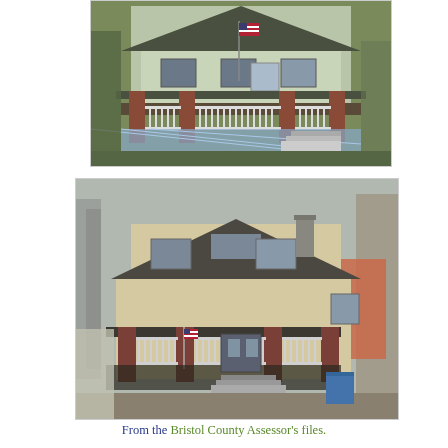[Figure (photo): Photograph of a house front view showing a one-story building with a covered porch, white railings, brick columns, an American flag, and lattice skirting. Light blue siding and dark roof visible.]
[Figure (photo): Photograph of a two-story house with beige/cream siding, a dark hip roof with a dormer, chimney, covered front porch with brick columns and white railings. Bare trees visible in background. Blue recycling bin visible at right.]
From the Bristol County Assessor's files.